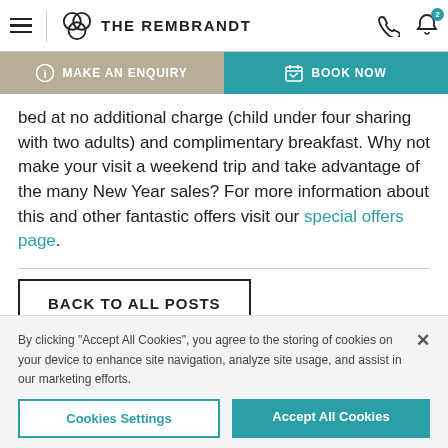THE REMBRANDT
bed at no additional charge (child under four sharing with two adults) and complimentary breakfast. Why not make your visit a weekend trip and take advantage of the many New Year sales? For more information about this and other fantastic offers visit our special offers page.
BACK TO ALL POSTS
By clicking “Accept All Cookies”, you agree to the storing of cookies on your device to enhance site navigation, analyze site usage, and assist in our marketing efforts.
Cookies Settings | Accept All Cookies